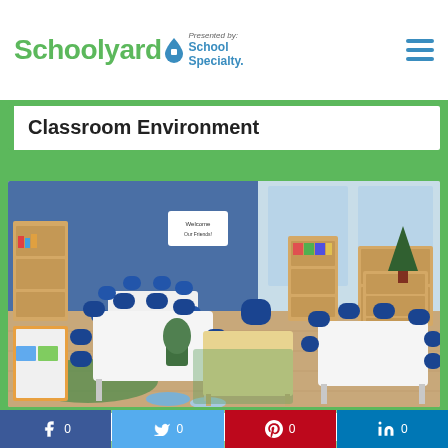Schoolyard Presented by School Specialty
Classroom Environment
[Figure (photo): Bright elementary classroom with blue chairs and wooden furniture, storage shelving units, tables of various sizes, and colorful learning materials on a green rug]
ORGANIZATION & STORAGE
Facebook 0   Twitter 0   Pinterest 0   LinkedIn 0